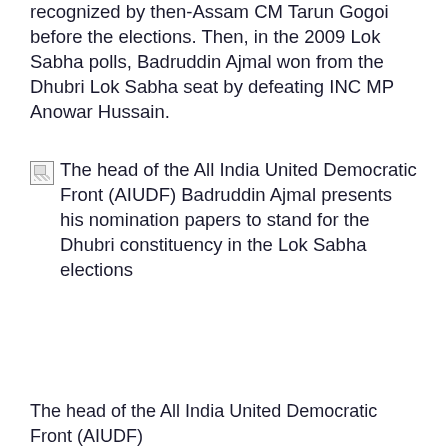recognized by then-Assam CM Tarun Gogoi before the elections. Then, in the 2009 Lok Sabha polls, Badruddin Ajmal won from the Dhubri Lok Sabha seat by defeating INC MP Anowar Hussain.
[Figure (photo): Broken image placeholder with alt text: The head of the All India United Democratic Front (AIUDF) Badruddin Ajmal presents his nomination papers to stand for the Dhubri constituency in the Lok Sabha elections]
The head of the All India United Democratic Front (AIUDF)